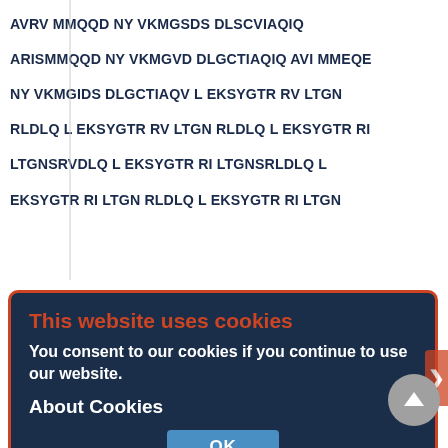AVRV MMQQD NY VKMGSDS DLSCVIAQIQ ARISMMQQD NY VKMGVD DLGCTIAQIQ AVI MMEQE NY VKMGIDS DLGCTIAQV L EKSYGTR RV LTGN RLDLQ L EKSYGTR RV LTGN RLDLQ L EKSYGTR RI LTGNSRVDLQ L EKSYGTR RI LTGNSRLDLQ L EKSYGTR RI LTGN RLDLQ L EKSYGTR RI LTGN
[Figure (screenshot): Cookie consent overlay dialog with dark navy background and orange-red border. Contains title 'This website uses cookies' in orange-red, body text 'You consent to our cookies if you continue to use our website.' in white, 'About Cookies' section header in white, and an OK button in blue. Background website text is partially visible through the overlay.]
DFSKIT GK FDS DFSKIT GK FDS'DFSKIT GK' FES DFSKIT GK FES DFSKIT GK FTS DFTKIS AK FAT DFSKIS SK FST DFSKIS SK LLNTELQKIS QI LADTDLTKIT SQVAKLSSLN LAETDLTKIT SQ